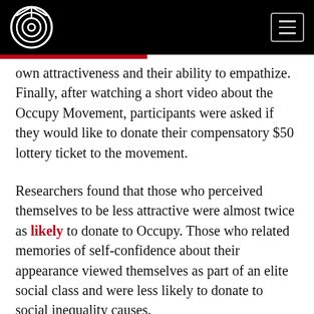[Logo] [Menu button]
own attractiveness and their ability to empathize. Finally, after watching a short video about the Occupy Movement, participants were asked if they would like to donate their compensatory $50 lottery ticket to the movement.
Researchers found that those who perceived themselves to be less attractive were almost twice as likely to donate to Occupy. Those who related memories of self-confidence about their appearance viewed themselves as part of an elite social class and were less likely to donate to social inequality causes.